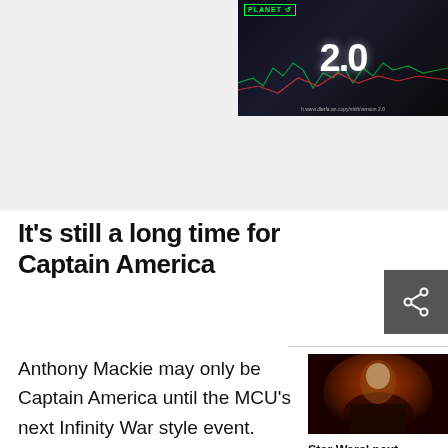[Figure (screenshot): Video thumbnail showing trading chart with '2.0' text overlay and Planet label in green, dark background with candlestick chart lines]
It's still a long time for Captain America
[Figure (photo): Dark cinematic image of an elderly hooded figure, Star Wars style, reddish dramatic lighting]
Star Wars' next trilogy needs to
Anthony Mackie may only be Captain America until the MCU's next Infinity War style event.